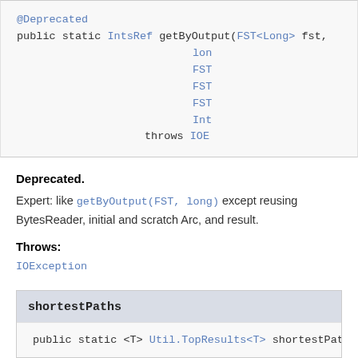@Deprecated
public static IntsRef getByOutput(FST<Long> fst, lon FST FST FST Int throws IOE
Deprecated.
Expert: like getByOutput(FST, long) except reusing BytesReader, initial and scratch Arc, and result.
Throws:
IOException
shortestPaths
public static <T> Util.TopResults<T> shortestPath